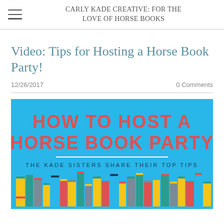CARLY KADE CREATIVE: FOR THE LOVE OF HORSE BOOKS
Video: Tips for Hosting a Horse Book Party!
12/26/2017   0 Comments
[Figure (infographic): Infographic with blue background reading 'HOW TO HOST A HORSE BOOK PARTY' in red bold text, subtitle 'THE KADE SISTERS SHARE THEIR TOP TIPS' in dark text, white horizontal divider line, and a row of colorful illustrated books at the bottom (yellow, teal, red, grey, blue colors)]